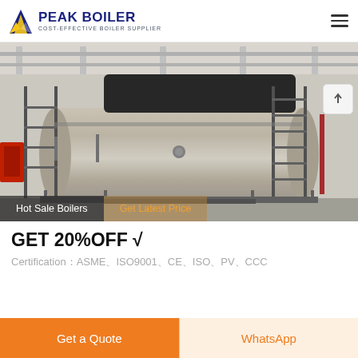[Figure (logo): Peak Boiler logo with blue triangle/flame icon and text 'PEAK BOILER COST-EFFECTIVE BOILER SUPPLIER']
[Figure (photo): Large industrial boiler installed inside a facility, showing a cylindrical stainless steel tank with piping, scaffold ladders, and red components visible on the left.]
Hot Sale Boilers
Get Latest Price
GET 20%OFF √
Certification：ASME、ISO9001、CE、ISO、PV、CCC
Get a Quote
WhatsApp